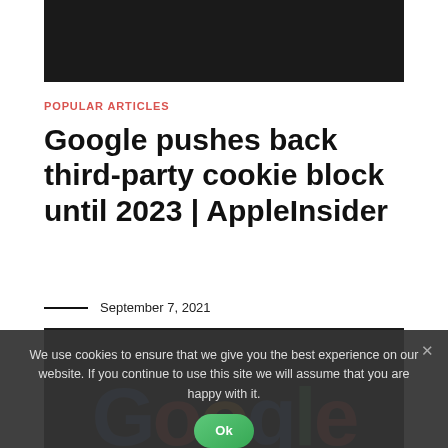[Figure (screenshot): Dark banner image at top of page]
POPULAR ARTICLES
Google pushes back third-party cookie block until 2023 | AppleInsider
September 7, 2021
[Figure (screenshot): Bottom section showing Google logo on dark background with cookie consent overlay reading: We use cookies to ensure that we give you the best experience on our website. If you continue to use this site we will assume that you are happy with it. Ok button visible.]